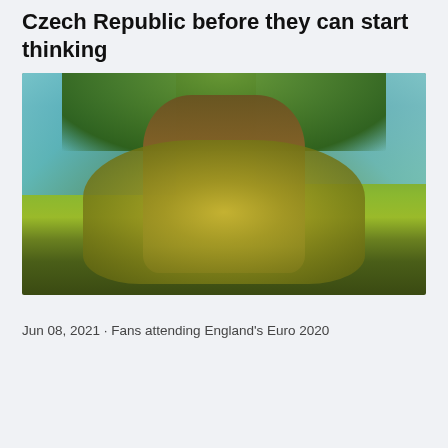Czech Republic before they can start thinking
[Figure (photo): Upward view of a large moss-covered tree trunk with green foliage and blue sky visible through the canopy]
Jun 08, 2021 · Fans attending England's Euro 2020